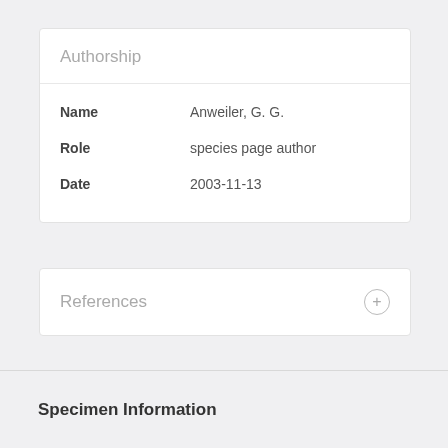Authorship
| Field | Value |
| --- | --- |
| Name | Anweiler, G. G. |
| Role | species page author |
| Date | 2003-11-13 |
References
Specimen Information